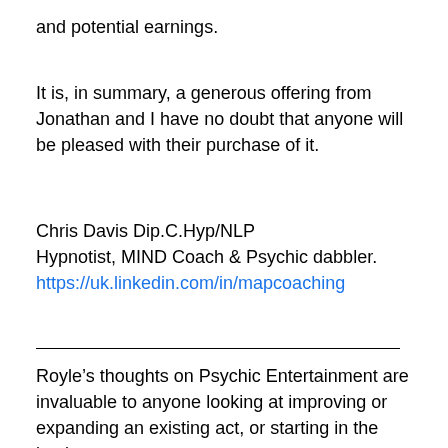and potential earnings.
It is, in summary, a generous offering from Jonathan and I have no doubt that anyone will be pleased with their purchase of it.
Chris Davis Dip.C.Hyp/NLP
Hypnotist, MIND Coach & Psychic dabbler.
https://uk.linkedin.com/in/mapcoaching
Royle’s thoughts on Psychic Entertainment are invaluable to anyone looking at improving or expanding an existing act, or starting in the business.
There is a lot of psychology based on real world experience over a number of years, within these pages,